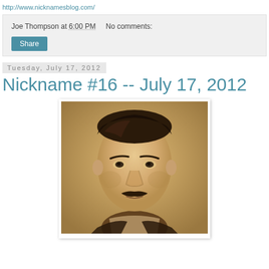http://www.nicknamesblog.com/
Joe Thompson at 6:00 PM    No comments:
Share
Tuesday, July 17, 2012
Nickname #16 -- July 17, 2012
[Figure (photo): Sepia-toned vintage portrait photograph of a man with a mustache, short dark hair parted to the side, looking slightly upward.]